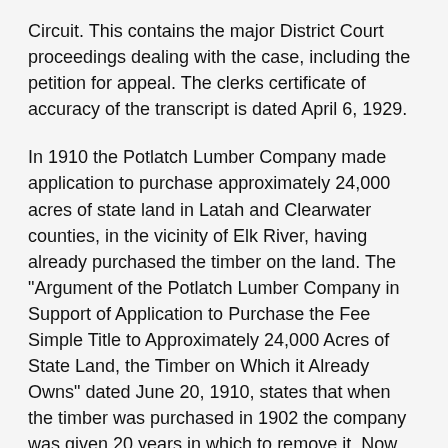Circuit. This contains the major District Court proceedings dealing with the case, including the petition for appeal. The clerks certificate of accuracy of the transcript is dated April 6, 1929.
In 1910 the Potlatch Lumber Company made application to purchase approximately 24,000 acres of state land in Latah and Clearwater counties, in the vicinity of Elk River, having already purchased the timber on the land. The "Argument of the Potlatch Lumber Company in Support of Application to Purchase the Fee Simple Title to Approximately 24,000 Acres of State Land, the Timber on Which it Already Owns" dated June 20, 1910, states that when the timber was purchased in 1902 the company was given 20 years in which to remove it. Now the timber they want is remote and difficult to log, and cannot be removed economically in a short time without using destructive logging methods. They give various